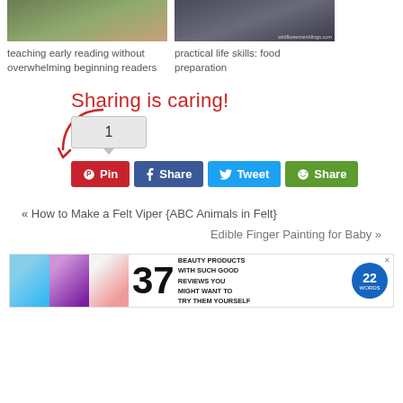[Figure (photo): Two photos side by side: left shows a child doing early reading activity, right shows food preparation with wildflowerramblings.com watermark]
teaching early reading without overwhelming beginning readers
practical life skills: food preparation
[Figure (infographic): Sharing is caring! section with arrow, share count box showing 1, and four share buttons: Pin, Share (Facebook), Tweet, Share (green/Yummly)]
« How to Make a Felt Viper {ABC Animals in Felt}
Edible Finger Painting for Baby »
[Figure (infographic): Advertisement banner: 37 Beauty products with such good reviews you might want to try them yourself - 22Words]